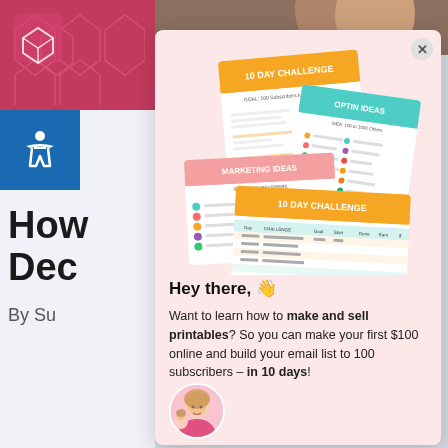[Figure (screenshot): A webpage screenshot showing a popup modal with printable worksheets (10 Day Challenge, Optin Ideas, Marketing Ideas), a partially visible blog post title starting with 'How' and 'Dec', accessibility icon, and avatar of a woman.]
Hey there, 👋
Want to learn how to make and sell printables? So you can make your first $100 online and build your email list to 100 subscribers – in 10 days!